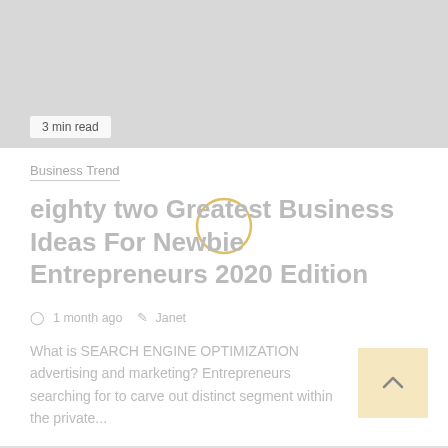[Figure (photo): Gray placeholder hero image for blog post]
3 min read
Business Trend
eighty two Greatest Business Ideas For Newbie Entrepreneurs 2020 Edition
1 month ago   Janet
What is SEARCH ENGINE OPTIMIZATION advertising and marketing? Entrepreneurs searching for to carve out distinct segment within the private...